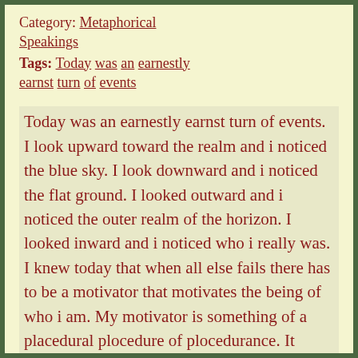Category: Metaphorical Speakings
Tags: Today was an earnestly earnst turn of events
Today was an earnestly earnst turn of events. I look upward toward the realm and i noticed the blue sky. I look downward and i noticed the flat ground. I looked outward and i noticed the outer realm of the horizon. I looked inward and i noticed who i really was. I knew today that when all else fails there has to be a motivator that motivates the being of who i am. My motivator is something of a placedural plocedure of plocedurance. It makes me look at the world in a